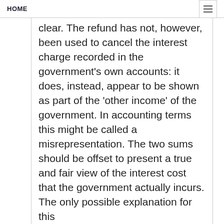HOME
clear. The refund has not, however, been used to cancel the interest charge recorded in the government’s own accounts: it does, instead, appear to be shown as part of the ‘other income’ of the government. In accounting terms this might be called a misrepresentation. The two sums should be offset to present a true and fair view of the interest cost that the government actually incurs. The only possible explanation for this